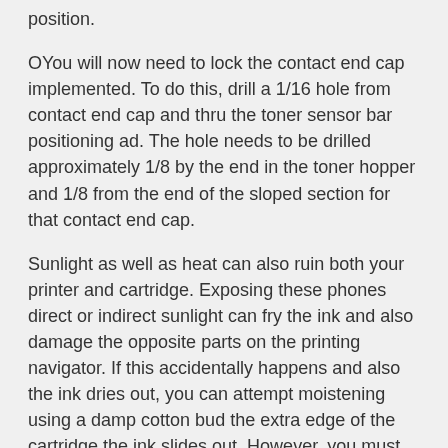position.
OYou will now need to lock the contact end cap implemented. To do this, drill a 1/16 hole from contact end cap and thru the toner sensor bar positioning ad. The hole needs to be drilled approximately 1/8 by the end in the toner hopper and 1/8 from the end of the sloped section for that contact end cap.
Sunlight as well as heat can also ruin both your printer and cartridge. Exposing these phones direct or indirect sunlight can fry the ink and also damage the opposite parts on the printing navigator. If this accidentally happens and also the ink dries out, you can attempt moistening using a damp cotton bud the extra edge of the cartridge the ink slides out. However, you must must be treated that your kids not always work if your main printer or cartridge has been left under the sun for quite some time.
Finally, require to to precisely how your printer ink THC choice cart tend to be shipped. For example, does it look U.S. Postal,